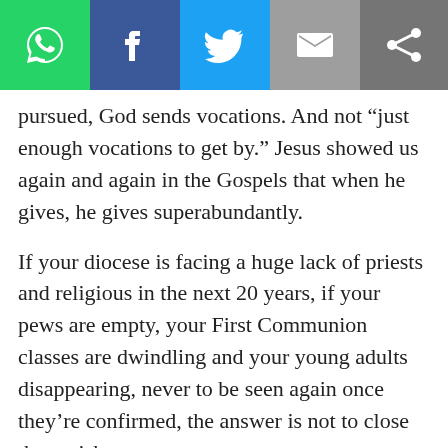[Figure (other): Social media sharing bar with WhatsApp, Facebook, Twitter, Email, and Share icons]
pursued, God sends vocations. And not “just enough vocations to get by.” Jesus showed us again and again in the Gospels that when he gives, he gives superabundantly.
If your diocese is facing a huge lack of priests and religious in the next 20 years, if your pews are empty, your First Communion classes are dwindling and your young adults disappearing, never to be seen again once they’re confirmed, the answer is not to close the parishes.
The answer is to take a hard look at your approach to evangelizing youth and families. God is calling young people to the priesthood and religious life, and to marriage and babies, even in this culture and in this country. Is your